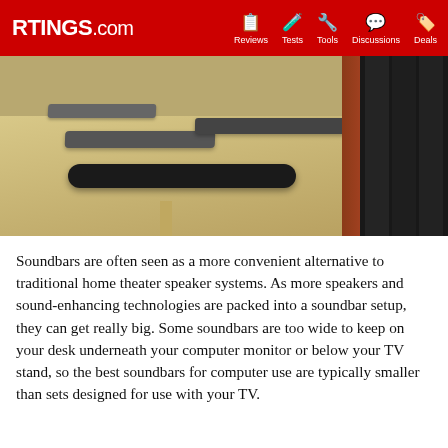RTINGS.com | Reviews | Tests | Tools | Discussions | Deals
[Figure (photo): Multiple soundbars of different sizes displayed on a wooden table in what appears to be a testing facility, with black speaker panels visible in the background on the right.]
Soundbars are often seen as a more convenient alternative to traditional home theater speaker systems. As more speakers and sound-enhancing technologies are packed into a soundbar setup, they can get really big. Some soundbars are too wide to keep on your desk underneath your computer monitor or below your TV stand, so the best soundbars for computer use are typically smaller than sets designed for use with your TV.